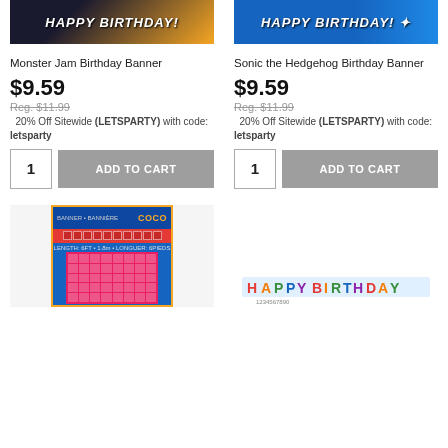[Figure (photo): Monster Jam Happy Birthday banner product image with yellow/dark background]
[Figure (photo): Sonic the Hedgehog Happy Birthday banner product image with blue background]
Monster Jam Birthday Banner
$9.59
Reg. $11.99
20% Off Sitewide (LETSPARTY) with code: letsparty
Sonic the Hedgehog Birthday Banner
$9.59
Reg. $11.99
20% Off Sitewide (LETSPARTY) with code: letsparty
[Figure (photo): Coco movie banner product package image]
[Figure (photo): Happy Birthday letter banner garland product image]